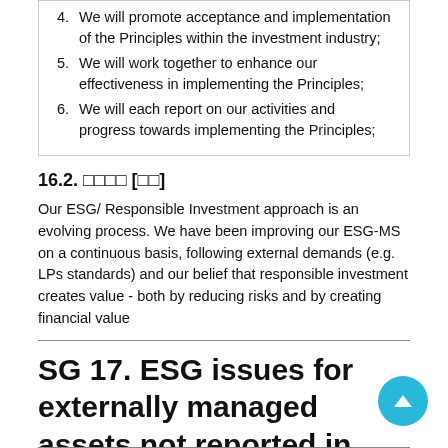4. We will promote acceptance and implementation of the Principles within the investment industry;
5. We will work together to enhance our effectiveness in implementing the Principles;
6. We will each report on our activities and progress towards implementing the Principles;
16.2. □□□□ [□□]
Our ESG/ Responsible Investment approach is an evolving process. We have been improving our ESG-MS on a continuous basis, following external demands (e.g. LPs standards) and our belief that responsible investment creates value - both by reducing risks and by creating financial value
SG 17. ESG issues for externally managed assets not reported in framework (Not Applicable)